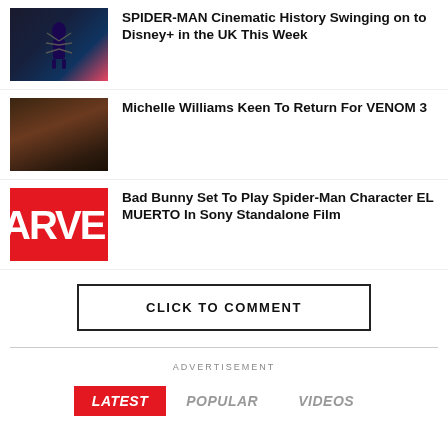[Figure (photo): Spider-Man character in dark costume against colorful background]
SPIDER-MAN Cinematic History Swinging on to Disney+ in the UK This Week
[Figure (photo): Dark moody image of a figure from behind in forest setting]
Michelle Williams Keen To Return For VENOM 3
[Figure (logo): Marvel logo in red and white]
Bad Bunny Set To Play Spider-Man Character EL MUERTO In Sony Standalone Film
CLICK TO COMMENT
ADVERTISEMENT
LATEST  POPULAR  VIDEOS